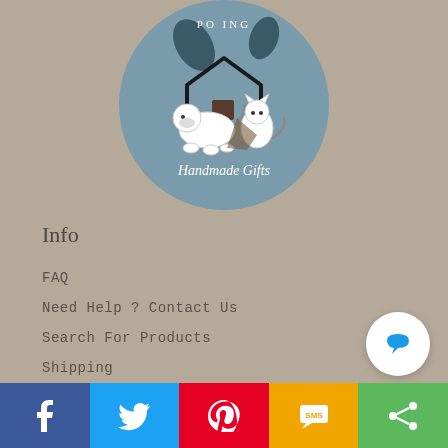[Figure (logo): Circular logo with teal/dusty blue background showing a dog and cat under a house roof outline, with leaf decorations, text 'Handmade Gifts' at bottom, partial text at top reading 'PO...ING']
Info
FAQ
Need Help ? Contact Us
Search For Products
Shipping